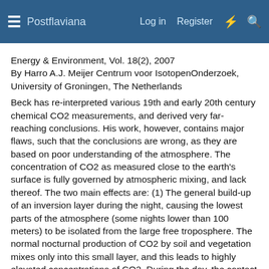Postflaviana — Log in  Register
Energy & Environment, Vol. 18(2), 2007
By Harro A.J. Meijer Centrum voor IsotopenOnderzoek, University of Groningen, The Netherlands
Beck has re-interpreted various 19th and early 20th century chemical CO2 measurements, and derived very far-reaching conclusions. His work, however, contains major flaws, such that the conclusions are wrong, as they are based on poor understanding of the atmosphere. The concentration of CO2 as measured close to the earth's surface is fully governed by atmospheric mixing, and lack thereof. The two main effects are: (1) The general build-up of an inversion layer during the night, causing the lowest parts of the atmosphere (some nights lower than 100 meters) to be isolated from the large free troposphere. The normal nocturnal production of CO2 by soil and vegetation mixes only into this small layer, and this leads to highly elevated concentrations of CO2. During the day, the contact between the lower layer and the free troposphere is gradually restored, causing the CO2 concentration to sink towards the free troposphere background concentration. The lowest